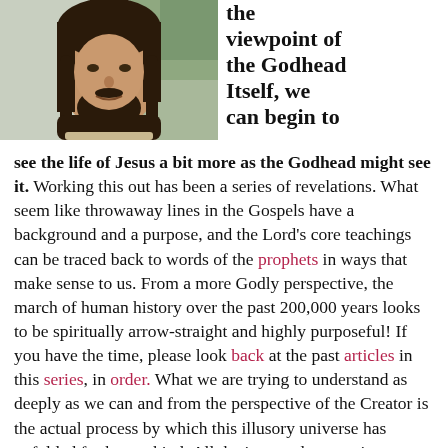[Figure (photo): Photo of a man with long dark hair and beard, wearing a light-colored top, outdoors with blurred greenery background.]
the viewpoint of the Godhead Itself, we can begin to see the life of Jesus a bit more as the Godhead might see it. Working this out has been a series of revelations. What seem like throwaway lines in the Gospels have a background and a purpose, and the Lord's core teachings can be traced back to words of the prophets in ways that make sense to us. From a more Godly perspective, the march of human history over the past 200,000 years looks to be spiritually arrow-straight and highly purposeful! If you have the time, please look back at the past articles in this series, in order. What we are trying to understand as deeply as we can and from the perspective of the Creator is the actual process by which this illusory universe has unfolded for humankind. All the invented past as it now